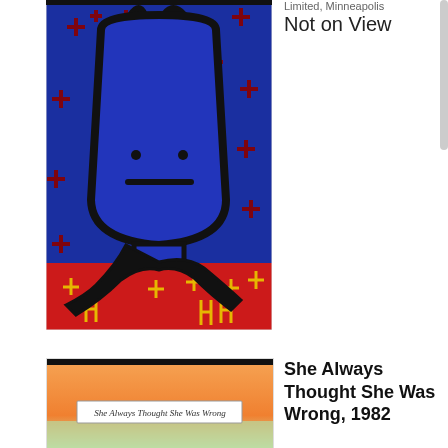Limited, Minneapolis
Not on View
[Figure (photo): Painting of a blue cartoon-like figure with a rounded bell-shaped head and small eyes and a straight mouth, arms extending down, on a background with dark red cross symbols. The lower portion shows a red band with yellow cross-like marks and black gestural marks.]
[Figure (photo): Painting or drawing showing text 'She Always Thought She Was Wrong' written in cursive on a label against a green and orange background.]
She Always Thought She Was Wrong, 1982